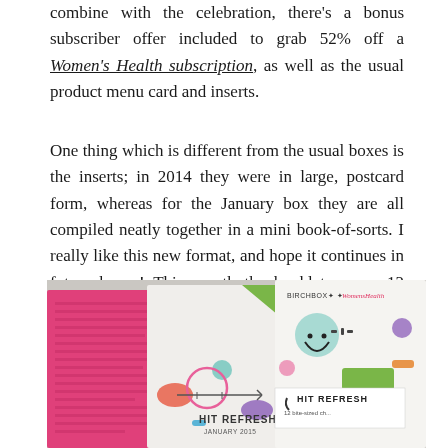combine with the celebration, there's a bonus subscriber offer included to grab 52% off a Women's Health subscription, as well as the usual product menu card and inserts.
One thing which is different from the usual boxes is the inserts; in 2014 they were in large, postcard form, whereas for the January box they are all compiled neatly together in a mini book-of-sorts. I really like this new format, and hope it continues in future boxes! This month the booklet covers 12 bite-sized challenges, with quick and easy ways to make small changes for big benefits.
[Figure (photo): Photo of Birchbox January 2015 Hit Refresh booklet and materials including a pink card, illustrated booklet pages, and a Birchbox x Women's Health co-branded booklet cover]